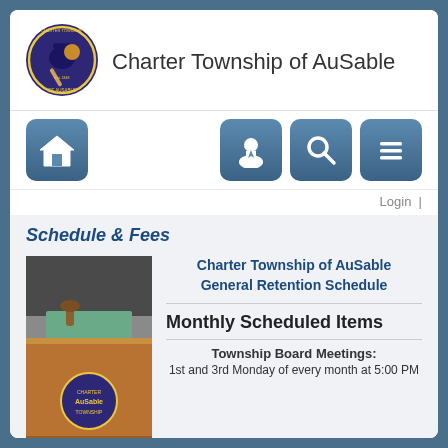[Figure (logo): Charter Township of AuSable circular seal/logo with purple background, bear figure, baseball bat, and text around the rim]
Charter Township of AuSable
[Figure (infographic): Navigation bar with four icon buttons: home icon (house), person/account icon, search/magnifying glass icon, and menu/list icon]
Login |
Schedule & Fees
Charter Township of AuSable General Retention Schedule
[Figure (photo): Photo of a wooden podium with AuSable township seal/emblem and a gavel on a table in the background]
Monthly Scheduled Items
Township Board Meetings:
1st and 3rd Monday of every month at 5:00 PM